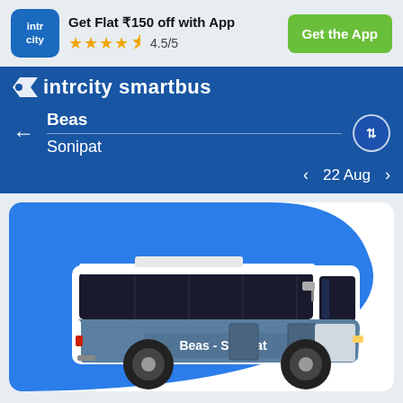[Figure (screenshot): IntrCity app logo – blue rounded square with 'intr city' text in white]
Get Flat ₹150 off with App
★★★★½ 4.5/5
Get the App
intrcity smartbus
Beas
Sonipat
22 Aug
[Figure (illustration): Illustration of a blue and white intercity bus with 'Beas - Sonipat' text on its side, against a blue curved background]
Trip Overview